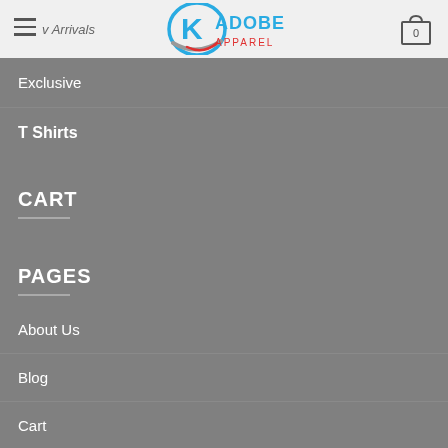Kadobe Apparel — navigation header with logo and cart
New Arrivals
Exclusive
T Shirts
CART
PAGES
About Us
Blog
Cart
Checkout